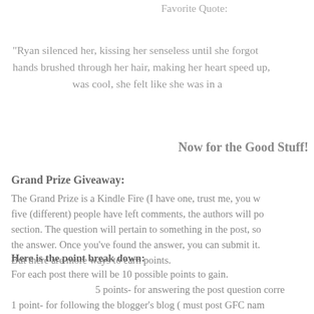Favorite Quote:
"Ryan silenced her, kissing her senseless until she forgot hands brushed through her hair, making her heart speed up, was cool, she felt like she was in a
Now for the Good Stuff!
Grand Prize Giveaway:
The Grand Prize is a Kindle Fire (I have one, trust me, you w five (different) people have left comments, the authors will po section. The question will pertain to something in the post, so the answer. Once you've found the answer, you can submit it. But there are more ways to earn points.
Here is the point break down:
For each post there will be 10 possible points to gain.
5 points- for answering the post question corre
1 point- for following the blogger's blog ( must post GFC nam